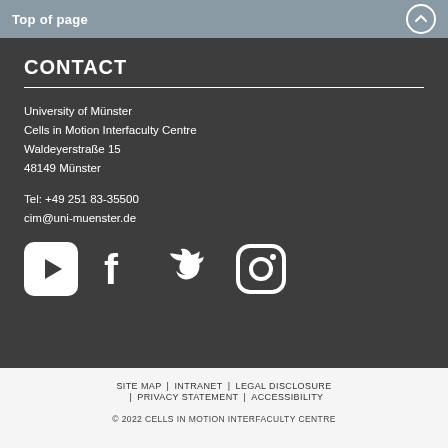Top of page
CONTACT
University of Münster
Cells in Motion Interfaculty Centre
Waldeyerstraße 15
48149 Münster
Tel: +49 251 83-35500
cim@uni-muenster.de
[Figure (illustration): Social media icons: YouTube, Facebook, Twitter, Instagram]
SITE MAP | INTRANET | LEGAL DISCLOSURE | PRIVACY STATEMENT | ACCESSIBILITY
© 2022 CELLS IN MOTION INTERFACULTY CENTRE